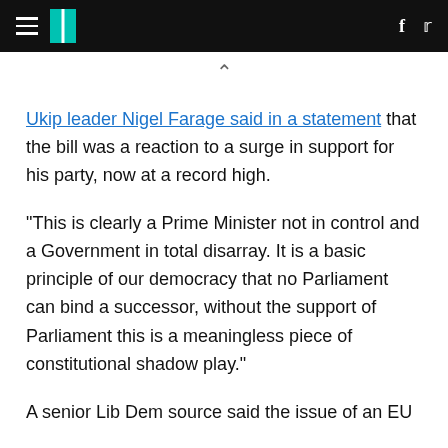HuffPost UK header with hamburger menu, logo, Facebook and Twitter icons
Ukip leader Nigel Farage said in a statement that the bill was a reaction to a surge in support for his party, now at a record high.
"This is clearly a Prime Minister not in control and a Government in total disarray. It is a basic principle of our democracy that no Parliament can bind a successor, without the support of Parliament this is a meaningless piece of constitutional shadow play."
A senior Lib Dem source said the issue of an EU